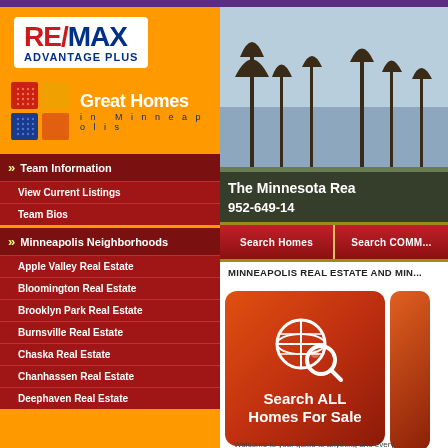[Figure (logo): RE/MAX Advantage Plus logo with red and blue text on white background]
[Figure (logo): Great Homes in Minneapolis logo with colorful squares graphic and white text]
» Team Information
View Current Listings
Team Bios
» Minneapolis Neighborhoods
Apple Valley Real Estate
Bloomington Real Estate
Brooklyn Park Real Estate
Burnsville Real Estate
Chaska Real Estate
Chanhassen Real Estate
Deephaven Real Estate
[Figure (photo): Winter landscape photo with bare trees and sky, overlaid with text 'The Minnesota Rea...' and phone number '952-649-14...']
Search Homes
Search COMM...
MINNEAPOLIS REAL ESTATE AND MIN...
[Figure (illustration): Search ALL Homes For Sale button with globe and magnifying glass icon on orange-red gradient background]
Welcome to your guide to anything and every...